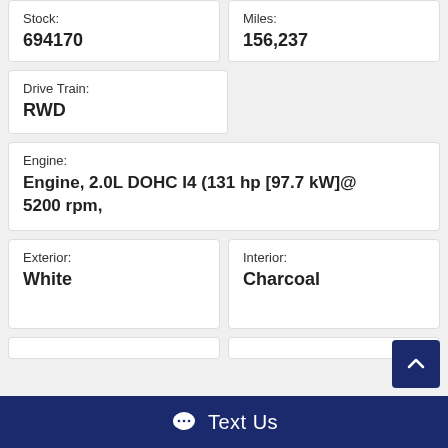Stock: 694170
Miles: 156,237
Drive Train: RWD
Engine: Engine, 2.0L DOHC I4 (131 hp [97.7 kW]@ 5200 rpm,
Exterior: White
Interior: Charcoal
Text Us